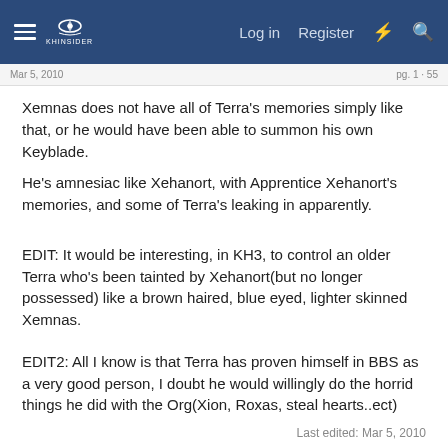Navigation bar with logo, Log in, Register
Mar 5, 2010 · page navigation
Xemnas does not have all of Terra's memories simply like that, or he would have been able to summon his own Keyblade.
He's amnesiac like Xehanort, with Apprentice Xehanort's memories, and some of Terra's leaking in apparently.
EDIT: It would be interesting, in KH3, to control an older Terra who's been tainted by Xehanort(but no longer possessed) like a brown haired, blue eyed, lighter skinned Xemnas.
EDIT2: All I know is that Terra has proven himself in BBS as a very good person, I doubt he would willingly do the horrid things he did with the Org(Xion, Roxas, steal hearts..ect)
Last edited: Mar 5, 2010